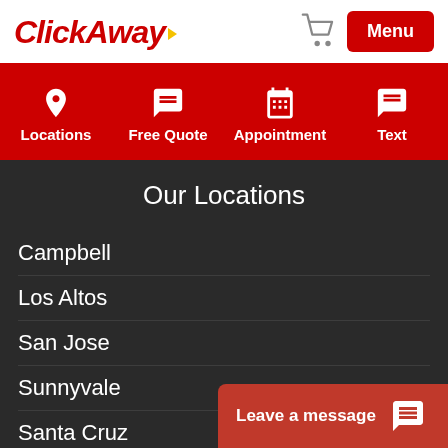ClickAway
Locations | Free Quote | Appointment | Text
Our Locations
Campbell
Los Altos
San Jose
Sunnyvale
Santa Cruz
Leave a message